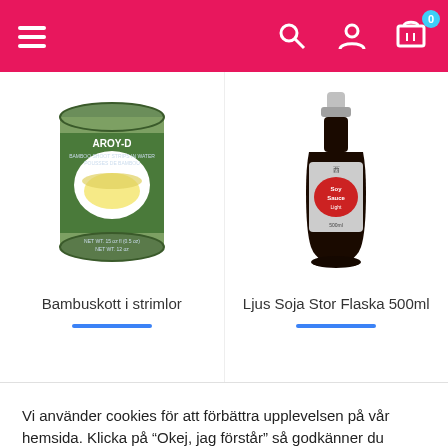[Figure (screenshot): Pink/red navigation header bar with hamburger menu icon on left, search icon, user/profile icon, and shopping cart icon with badge showing 0 on the right]
[Figure (photo): Product image: AROY-D brand canned bamboo shoot strips in water]
Bambuskott i strimlor
[Figure (photo): Product image: Soy sauce in a dark glass bottle with red label]
Ljus Soja Stor Flaska 500ml
Vi använder cookies för att förbättra upplevelsen på vår hemsida. Klicka på “Okej, jag förstår” så godkänner du användandet av cookies.
Läs mer
Cookie-inställningar
Okej, jag förstår